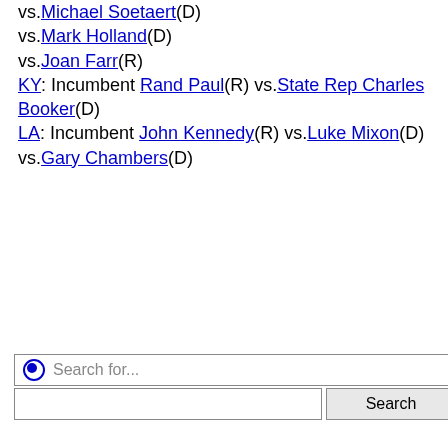vs.Michael Soetaert(D)
vs.Mark Holland(D)
vs.Joan Farr(R)
KY: Incumbent Rand Paul(R) vs.State Rep Charles Booker(D)
LA: Incumbent John Kennedy(R) vs.Luke Mixon(D) vs.Gary Chambers(D)
[Figure (other): Search widget with radio button labeled 'Search for...', a text input field, and a Search button]